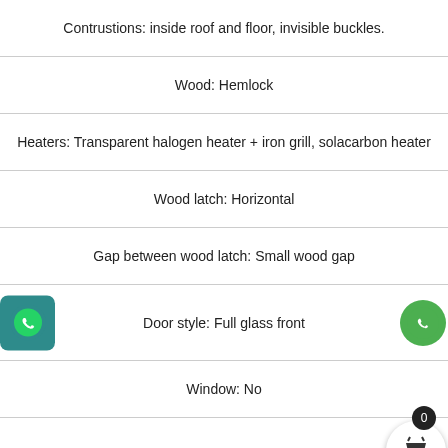Contrustions: inside roof and floor, invisible buckles.
Wood: Hemlock
Heaters: Transparent halogen heater + iron grill, solacarbon heater
Wood latch: Horizontal
Gap between wood latch: Small wood gap
Door style: Full glass front
Window: No
Handle: Wooden
Controller: Digital KN2 controller with bluetooth and C...
Heaters: No
Side glass: No
Air vent; Air vent on roof
Bench assist board: Yes